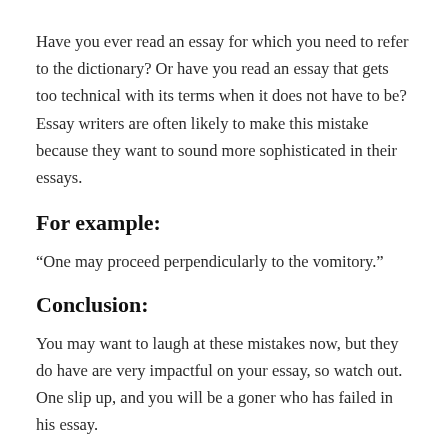Have you ever read an essay for which you need to refer to the dictionary? Or have you read an essay that gets too technical with its terms when it does not have to be? Essay writers are often likely to make this mistake because they want to sound more sophisticated in their essays.
For example:
“One may proceed perpendicularly to the vomitory.”
Conclusion:
You may want to laugh at these mistakes now, but they do have are very impactful on your essay, so watch out. One slip up, and you will be a goner who has failed in his essay.